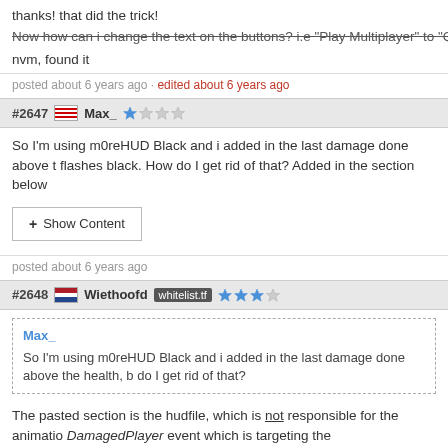thanks! that did the trick!
Now how can i change the text on the buttons? i.e "Play Multiplayer" to "Qu
nvm, found it
posted about 6 years ago · edited about 6 years ago
#2647 Max_
So I'm using m0reHUD Black and i added in the last damage done above t flashes black. How do I get rid of that? Added in the section below
+ Show Content
posted about 6 years ago
#2648 Wiethoofd whitelist.tf
Max_
So I'm using m0reHUD Black and i added in the last damage done above the health, b do I get rid of that?
The pasted section is the hudfile, which is not responsible for the animatio DamagedPlayer event which is targeting the DamageAccountValue(BG) el